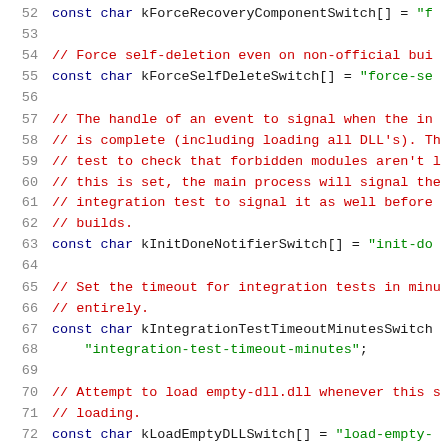Source code listing showing C++ constant declarations with line numbers 52-72
52: const char kForceRecoveryComponentSwitch[] = "f...
53: (blank)
54: // Force self-deletion even on non-official bui...
55: const char kForceSelfDeleteSwitch[] = "force-se...
56: (blank)
57: // The handle of an event to signal when the in...
58: // is complete (including loading all DLL's). Th...
59: // test to check that forbidden modules aren't l...
60: // this is set, the main process will signal the...
61: // integration test to signal it as well before ...
62: // builds.
63: const char kInitDoneNotifierSwitch[] = "init-do...
64: (blank)
65: // Set the timeout for integration tests in minu...
66: // entirely.
67: const char kIntegrationTestTimeoutMinutesSwitch...
68:     "integration-test-timeout-minutes";
69: (blank)
70: // Attempt to load empty-dll.dll whenever this s...
71: // loading.
72: const char kLoadEmptyDLLSwitch[] = "load-empty-...